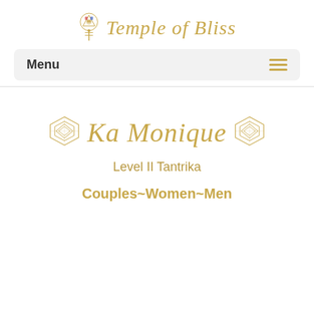Temple of Bliss
Menu
Ka Monique
Level II Tantrika
Couples~Women~Men